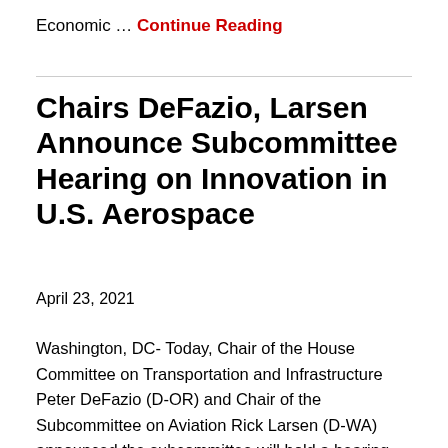Economic … Continue Reading
Chairs DeFazio, Larsen Announce Subcommittee Hearing on Innovation in U.S. Aerospace
April 23, 2021
Washington, DC- Today, Chair of the House Committee on Transportation and Infrastructure Peter DeFazio (D-OR) and Chair of the Subcommittee on Aviation Rick Larsen (D-WA) announced the subcommittee will hold a hearing